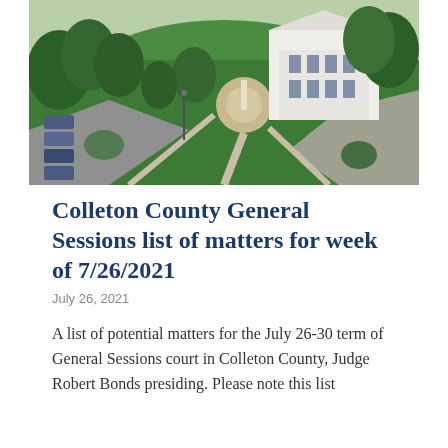[Figure (photo): Aerial photograph of a courthouse or government building with surrounding green lawns, a circular plaza with monument, parked cars, and tree canopy.]
Colleton County General Sessions list of matters for week of 7/26/2021
July 26, 2021
A list of potential matters for the July 26-30 term of General Sessions court in Colleton County, Judge Robert Bonds presiding. Please note this list